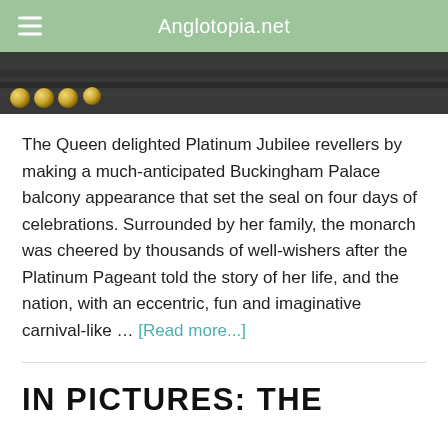Anglotopia.net
[Figure (photo): Close-up of dark ornate metalwork or fence with gold decorative ball finials in the foreground, likely Buckingham Palace railings]
The Queen delighted Platinum Jubilee revellers by making a much-anticipated Buckingham Palace balcony appearance that set the seal on four days of celebrations. Surrounded by her family, the monarch was cheered by thousands of well-wishers after the Platinum Pageant told the story of her life, and the nation, with an eccentric, fun and imaginative carnival-like … [Read more...]
IN PICTURES: THE